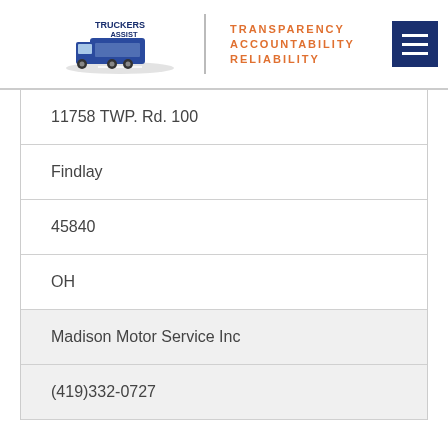[Figure (logo): Truckers Assist logo with truck graphic and taglines: TRANSPARENCY, ACCOUNTABILITY, RELIABILITY]
| 11758 TWP. Rd. 100 |
| Findlay |
| 45840 |
| OH |
| Madison Motor Service Inc |
| (419)332-0727 |